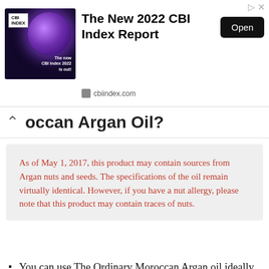[Figure (screenshot): Advertisement banner for 'The New 2022 CBI Index Report' from cbiindex.com with an Open button and close icon]
occan Argan Oil?
As of May 1, 2017, this product may contain sources from Argan nuts and seeds. The specifications of the oil remain virtually identical. However, if you have a nut allergy, please note that this product may contain traces of nuts.
You can use The Ordinary Moroccan Argan oil ideally in the evening.
You can use it alone or after any water-based products and before a heavy moisturizer.
Apply just a couple of drops to the palm of your hand and pat or massage into skin. Add